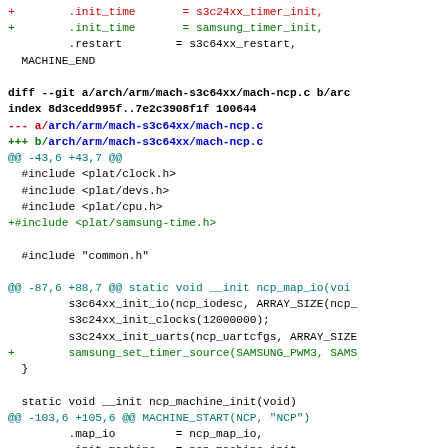diff --git code fragment showing changes to mach-ncp.c in Linux kernel ARM S3C64xx architecture, including timer source updates